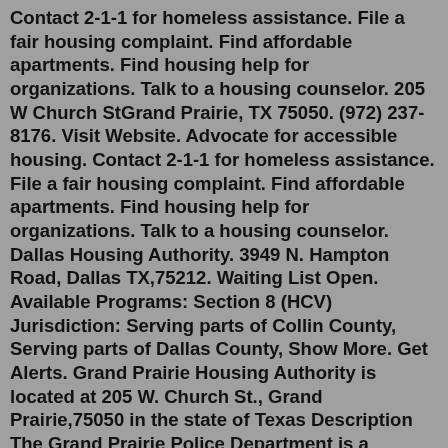Contact 2-1-1 for homeless assistance. File a fair housing complaint. Find affordable apartments. Find housing help for organizations. Talk to a housing counselor. 205 W Church StGrand Prairie, TX 75050. (972) 237-8176. Visit Website. Advocate for accessible housing. Contact 2-1-1 for homeless assistance. File a fair housing complaint. Find affordable apartments. Find housing help for organizations. Talk to a housing counselor. Dallas Housing Authority. 3949 N. Hampton Road, Dallas TX,75212. Waiting List Open. Available Programs: Section 8 (HCV) Jurisdiction: Serving parts of Collin County, Serving parts of Dallas County, Show More. Get Alerts. Grand Prairie Housing Authority is located at 205 W. Church St., Grand Prairie,75050 in the state of Texas Description The Grand Prairie Police Department is a proactive agency committed to the philosophy of community oriented policing. FYI, this is a moderated online discussion site and not a public forum.View 11 housing authorities and agencies in Grand Prairie, TX. View photos, get pricing and see if you qualify for